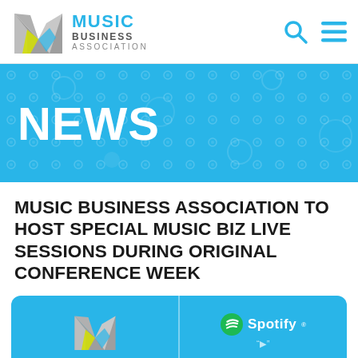[Figure (logo): Music Business Association logo with stylized M and text]
NEWS
MUSIC BUSINESS ASSOCIATION TO HOST SPECIAL MUSIC BIZ LIVE SESSIONS DURING ORIGINAL CONFERENCE WEEK
[Figure (illustration): Blue banner card showing Music Business Association logo on the left and Spotify logo on the right]